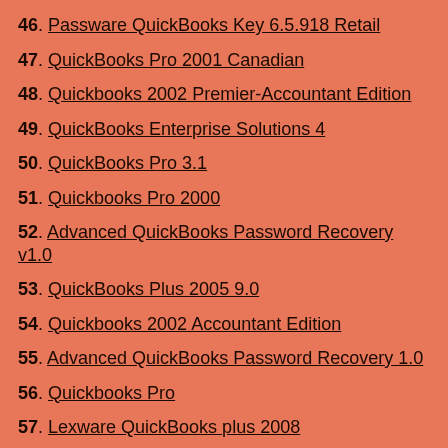46. Passware QuickBooks Key 6.5.918 Retail
47. QuickBooks Pro 2001 Canadian
48. Quickbooks 2002 Premier-Accountant Edition
49. QuickBooks Enterprise Solutions 4
50. QuickBooks Pro 3.1
51. Quickbooks Pro 2000
52. Advanced QuickBooks Password Recovery v1.0
53. QuickBooks Plus 2005 9.0
54. Quickbooks 2002 Accountant Edition
55. Advanced QuickBooks Password Recovery 1.0
56. Quickbooks Pro
57. Lexware QuickBooks plus 2008
58. QuickBooks Pro v6.0D